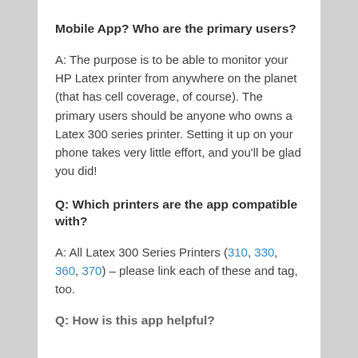Mobile App? Who are the primary users?
A: The purpose is to be able to monitor your HP Latex printer from anywhere on the planet (that has cell coverage, of course). The primary users should be anyone who owns a Latex 300 series printer. Setting it up on your phone takes very little effort, and you’ll be glad you did!
Q: Which printers are the app compatible with?
A: All Latex 300 Series Printers (310, 330, 360, 370) – please link each of these and tag, too.
Q: How is this app helpful?